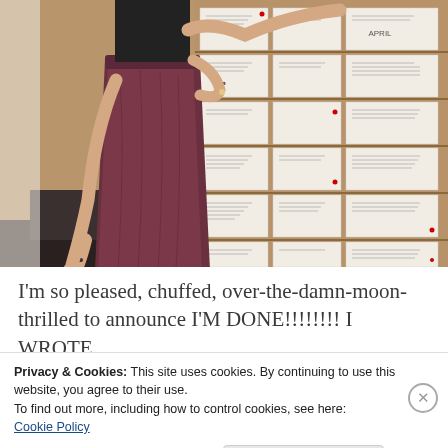[Figure (photo): Photo of a person wearing a dark top and a burgundy/dark mauve full skirt, standing in front of a wall covered in white cards/envelopes arranged in rows on a wooden surface. The person's left hand is on their hip and the right arm is extended to the side touching the wall.]
I'm so pleased, chuffed, over-the-damn-moon-thrilled to announce I'M DONE!!!!!!!! I WROTE
Privacy & Cookies: This site uses cookies. By continuing to use this website, you agree to their use.
To find out more, including how to control cookies, see here:
Cookie Policy
Close and accept